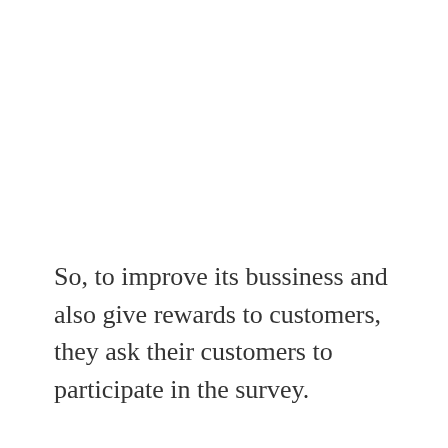So, to improve its bussiness and also give rewards to customers, they ask their customers to participate in the survey.